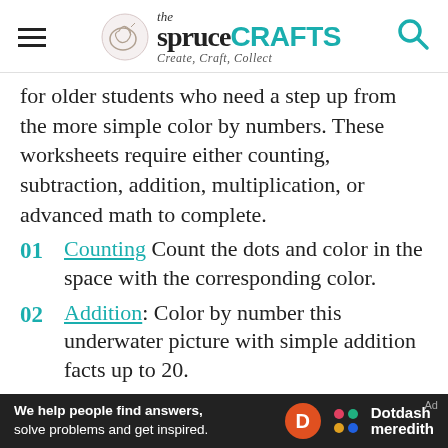the spruceCRAFTS Create, Craft, Collect
for older students who need a step up from the more simple color by numbers. These worksheets require either counting, subtraction, addition, multiplication, or advanced math to complete.
01 Counting Count the dots and color in the space with the corresponding color.
02 Addition: Color by number this underwater picture with simple addition facts up to 20.
03 Subtraction: Kids will need to use their subtraction skills to complete this color by
We help people find answers, solve problems and get inspired. Dotdash meredith